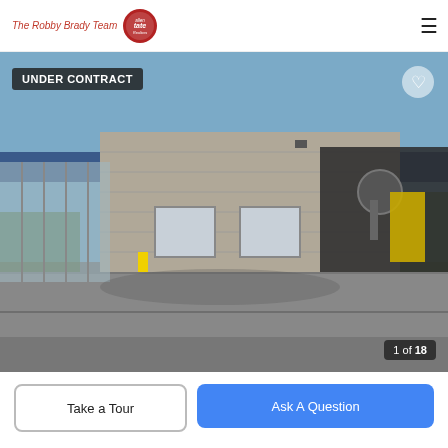The Robby Brady Team / Allen Tate Realtors logo with hamburger menu
[Figure (photo): Exterior photo of a commercial building that appears to be a car wash facility, with concrete block walls, a blue metal roof extension, and car wash equipment visible inside an open bay. The parking lot is in the foreground. Badge reads UNDER CONTRACT. Image counter shows 1 of 18.]
UNDER CONTRACT
1 of 18
Take a Tour
Ask A Question